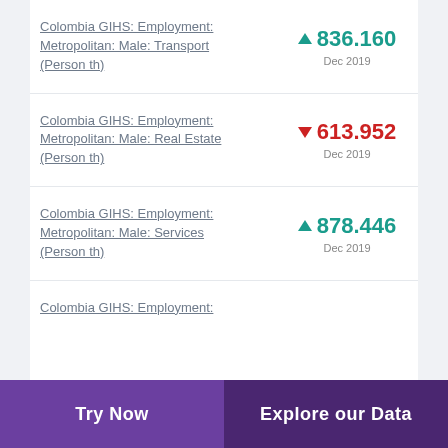Colombia GIHS: Employment: Metropolitan: Male: Transport (Person th)
Colombia GIHS: Employment: Metropolitan: Male: Real Estate (Person th)
Colombia GIHS: Employment: Metropolitan: Male: Services (Person th)
Colombia GIHS: Employment:
Try Now    Explore our Data